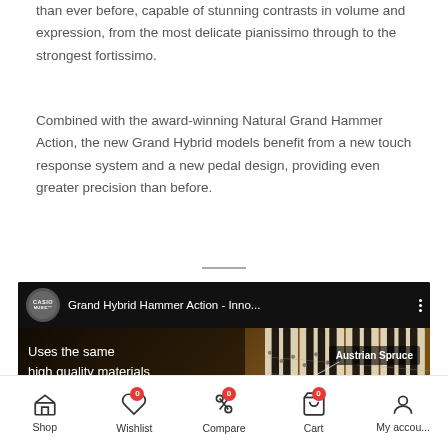than ever before, capable of stunning contrasts in volume and expression, from the most delicate pianissimo through to the strongest fortissimo.
Combined with the award-winning Natural Grand Hammer Action, the new Grand Hybrid models benefit from a new touch response system and a new pedal design, providing even greater precision than before.
[Figure (screenshot): YouTube-style video thumbnail for Casio Music 'Grand Hybrid Hammer Action - Inno...' showing piano keys with text overlay: 'Uses the same high quality materials as C. Bechstein' and 'Austrian Spruce' label, with a purple chat bubble icon.]
Shop  Wishlist 0  Compare 0  Cart 0  My accou...